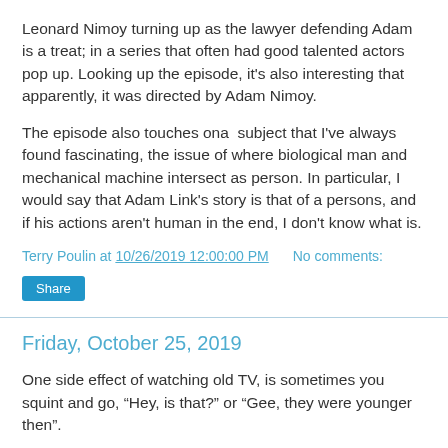Leonard Nimoy turning up as the lawyer defending Adam is a treat; in a series that often had good talented actors pop up. Looking up the episode, it's also interesting that apparently, it was directed by Adam Nimoy.
The episode also touches ona  subject that I've always found fascinating, the issue of where biological man and mechanical machine intersect as person. In particular, I would say that Adam Link's story is that of a persons, and if his actions aren't human in the end, I don't know what is.
Terry Poulin at 10/26/2019 12:00:00 PM    No comments:
Share
Friday, October 25, 2019
One side effect of watching old TV, is sometimes you squint and go, “Hey, is that?” or “Gee, they were younger then”.
Like watching the S1:E09 episode of The Outer